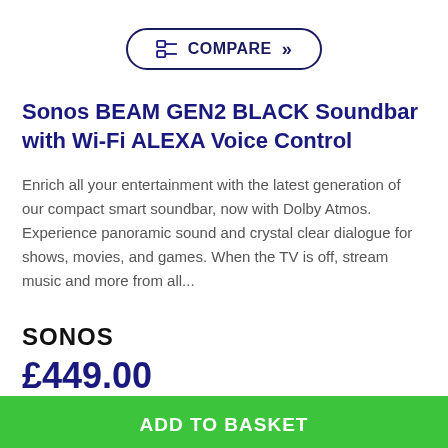[Figure (other): COMPARE button with icon and chevron, rounded rectangle border]
Sonos BEAM GEN2 BLACK Soundbar with Wi-Fi ALEXA Voice Control
Enrich all your entertainment with the latest generation of our compact smart soundbar, now with Dolby Atmos. Experience panoramic sound and crystal clear dialogue for shows, movies, and games. When the TV is off, stream music and more from all...
SONOS
£449.00
ADD TO BASKET